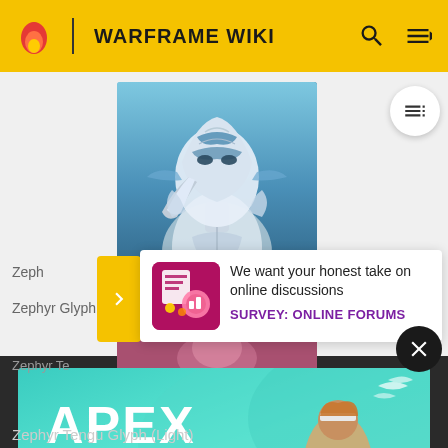WARFRAME WIKI
[Figure (screenshot): Warframe character helmet/armor - Zephyr Glyph (Light) image, blue and white futuristic armor on blue background]
Zephyr Glyph (Light)
Zeph
[Figure (infographic): Survey popup overlay with pink/magenta icon showing a survey graphic. Text: 'We want your honest take on online discussions' and 'SURVEY: ONLINE FORUMS']
[Figure (screenshot): Apex Legends advertisement banner with teal/green background showing a character with a sniper rifle and APEX LEGENDS logo]
Zephyr Te
Zephyr Tengu Glyph (Light)